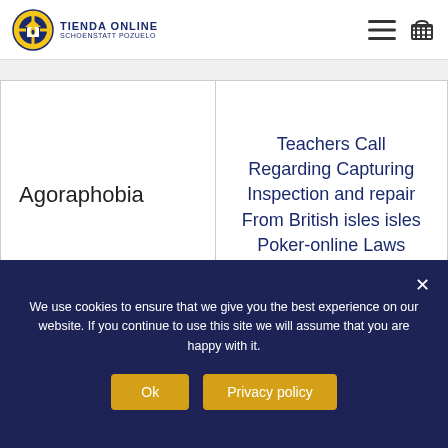TIENDA ONLINE SCHOENSTATT POZUELO
| Agoraphobia | Teachers Call Regarding Capturing Inspection and repair From British isles isles Poker-online Laws |
ABOUT
We use cookies to ensure that we give you the best experience on our website. If you continue to use this site we will assume that you are happy with it.